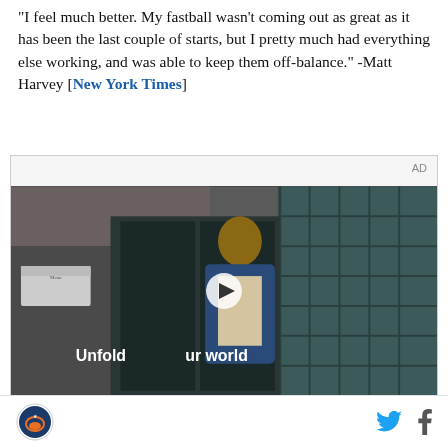"I feel much better. My fastball wasn't coming out as great as it has been the last couple of starts, but I pretty much had everything else working, and was able to keep them off-balance." -Matt Harvey [New York Times]
[Figure (screenshot): Advertisement video player showing a young man in a denim jacket standing in front of a building with glass block windows. Text overlay reads 'Unfold your world' with a play button in the center. AD label in top right corner.]
Site logo, Twitter icon, Facebook icon